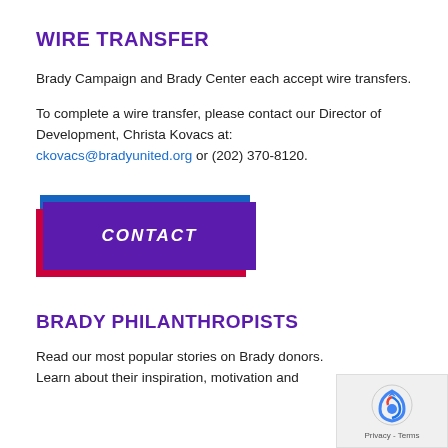WIRE TRANSFER
Brady Campaign and Brady Center each accept wire transfers.
To complete a wire transfer, please contact our Director of Development, Christa Kovacs at: ckovacs@bradyunited.org or (202) 370-8120.
[Figure (other): Purple CONTACT button with blue and red offset shadow layers]
BRADY PHILANTHROPISTS
Read our most popular stories on Brady donors. Learn about their inspiration, motivation and
[Figure (other): reCAPTCHA privacy widget in bottom right corner showing logo and Privacy - Terms text]